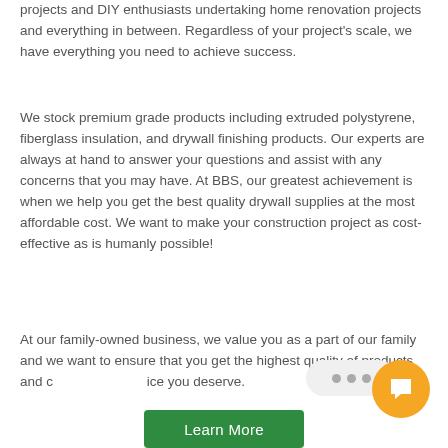projects and DIY enthusiasts undertaking home renovation projects and everything in between. Regardless of your project's scale, we have everything you need to achieve success.
We stock premium grade products including extruded polystyrene, fiberglass insulation, and drywall finishing products. Our experts are always at hand to answer your questions and assist with any concerns that you may have. At BBS, our greatest achievement is when we help you get the best quality drywall supplies at the most affordable cost. We want to make your construction project as cost-effective as is humanly possible!
At our family-owned business, we value you as a part of our family and we want to ensure that you get the highest quality of products and customer service you deserve.